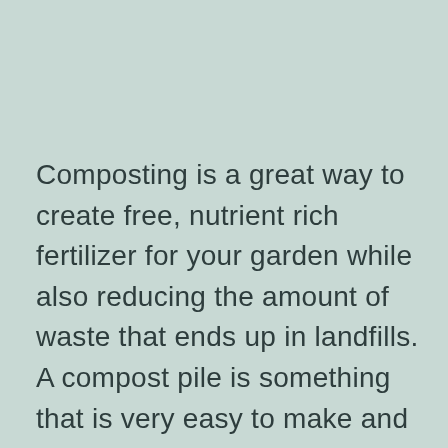Composting is a great way to create free, nutrient rich fertilizer for your garden while also reducing the amount of waste that ends up in landfills. A compost pile is something that is very easy to make and care for and is a very green way of reducing waste and producing a useful produce, in this case, compost for a garden. Many people assume that compost piles require a lot of work and are stinky pest magnet, but when done right, they simply smell like earth and they can be kept pest free. A